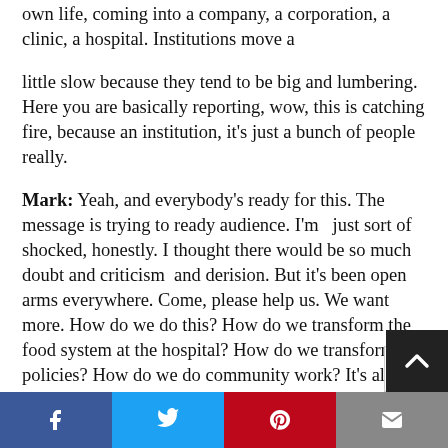own life, coming into a company, a corporation, a clinic, a hospital. Institutions move a
little slow because they tend to be big and lumbering. Here you are basically reporting, wow, this is catching fire, because an institution, it’s just a bunch of people really.
Mark: Yeah, and everybody’s ready for this. The message is trying to ready audience. I’m just sort of shocked, honestly. I thought there would be so much doubt and criticism and derision. But it’s been open arms everywhere. Come, please help us. We want more. How do we do this? How do we transform the food system at the hospital? How do we transform policies? How do we do community work? It’s almost overwhelming, the opportunity. I go there and it’s like drinking from a fire hose of opportunity for transformation in
Social sharing bar: Facebook, Twitter, Pinterest, Email